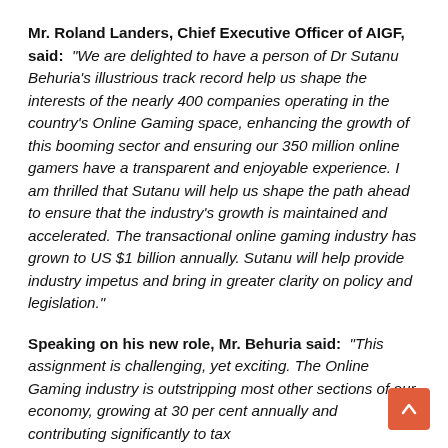Mr. Roland Landers, Chief Executive Officer of AIGF, said: "We are delighted to have a person of Dr Sutanu Behuria's illustrious track record help us shape the interests of the nearly 400 companies operating in the country's Online Gaming space, enhancing the growth of this booming sector and ensuring our 350 million online gamers have a transparent and enjoyable experience. I am thrilled that Sutanu will help us shape the path ahead to ensure that the industry's growth is maintained and accelerated. The transactional online gaming industry has grown to US $1 billion annually. Sutanu will help provide industry impetus and bring in greater clarity on policy and legislation."
Speaking on his new role, Mr. Behuria said: "This assignment is challenging, yet exciting. The Online Gaming industry is outstripping most other sections of our economy, growing at 30 per cent annually and contributing significantly to tax